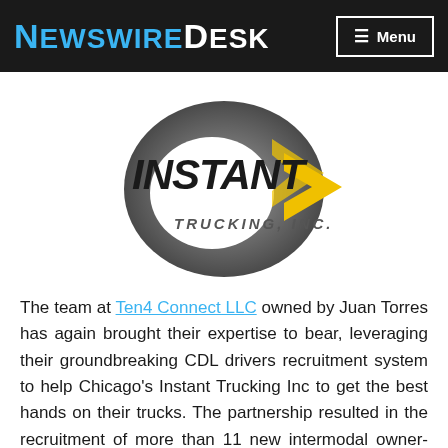NewswireDesk  Menu
[Figure (logo): Instant Trucking, Inc. logo with bold italic INSTANT text and yellow arrow graphic on grey circular background]
The team at Ten4 Connect LLC owned by Juan Torres has again brought their expertise to bear, leveraging their groundbreaking CDL drivers recruitment system to help Chicago's Instant Trucking Inc to get the best hands on their trucks. The partnership resulted in the recruitment of more than 11 new intermodal owner-operated drivers in